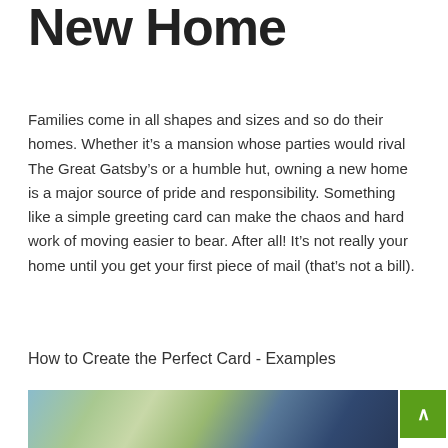New Home
Families come in all shapes and sizes and so do their homes. Whether it’s a mansion whose parties would rival The Great Gatsby’s or a humble hut, owning a new home is a major source of pride and responsibility. Something like a simple greeting card can make the chaos and hard work of moving easier to bear. After all! It’s not really your home until you get your first piece of mail (that’s not a bill).
How to Create the Perfect Card - Examples
[Figure (photo): Partially visible photo of outdoor scene with blurred foreground figures and structures; a green scroll-to-top button overlay visible at right.]